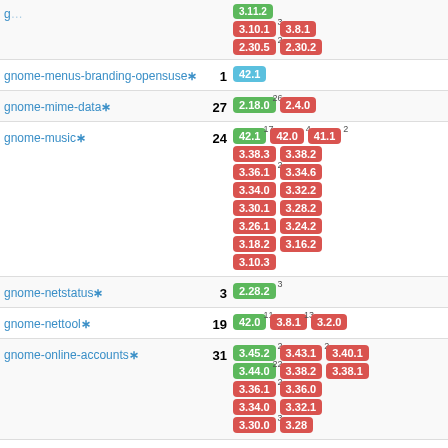| Package | Count | Versions |
| --- | --- | --- |
| gnome-menus-branding-opensuse* | 1 | 42.1 |
| gnome-mime-data* | 27 | 2.18.0 (26), 2.4.0 |
| gnome-music* | 24 | 42.1 (17), 42.0 (4), 41.1 (2), 3.38.3, 3.38.2, 3.36.1 (2), 3.34.6, 3.34.0, 3.32.2, 3.30.1, 3.28.2, 3.26.1, 3.24.2, 3.18.2, 3.16.2, 3.10.3 |
| gnome-netstatus* | 3 | 2.28.2 (3) |
| gnome-nettool* | 19 | 42.0 (11), 3.8.1 (13), 3.2.0 |
| gnome-online-accounts* | 31 | 3.45.2 (2), 3.44.0 (22), 3.43.1 (2), 3.40.1, 3.38.2, 3.38.1, 3.36.1 (2), 3.36.0, 3.34.0, 3.32.1, 3.30.0 (3), 3.28 |